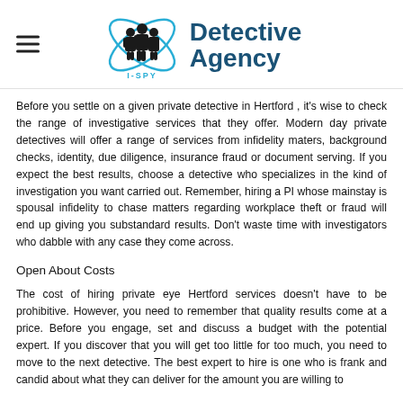[Figure (logo): I-SPY Detective Agency logo with silhouetted figures and orbital ring graphic, and bold blue text reading 'Detective Agency']
Before you settle on a given private detective in Hertford , it's wise to check the range of investigative services that they offer. Modern day private detectives will offer a range of services from infidelity maters, background checks, identity, due diligence, insurance fraud or document serving. If you expect the best results, choose a detective who specializes in the kind of investigation you want carried out. Remember, hiring a PI whose mainstay is spousal infidelity to chase matters regarding workplace theft or fraud will end up giving you substandard results. Don't waste time with investigators who dabble with any case they come across.
Open About Costs
The cost of hiring private eye Hertford services doesn't have to be prohibitive. However, you need to remember that quality results come at a price. Before you engage, set and discuss a budget with the potential expert. If you discover that you will get too little for too much, you need to move to the next detective. The best expert to hire is one who is frank and candid about what they can deliver for the amount you are willing to